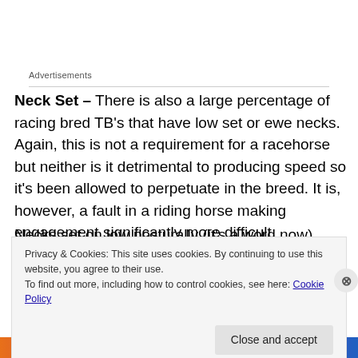Advertisements
Neck Set – There is also a large percentage of racing bred TB's that have low set or ewe necks. Again, this is not a requirement for a racehorse but neither is it detrimental to producing speed so it's been allowed to perpetuate in the breed. It is, however, a fault in a riding horse making engagement significantly more difficult.
Necks set on low posturally (it's a word now) want to drop
Privacy & Cookies: This site uses cookies. By continuing to use this website, you agree to their use.
To find out more, including how to control cookies, see here: Cookie Policy